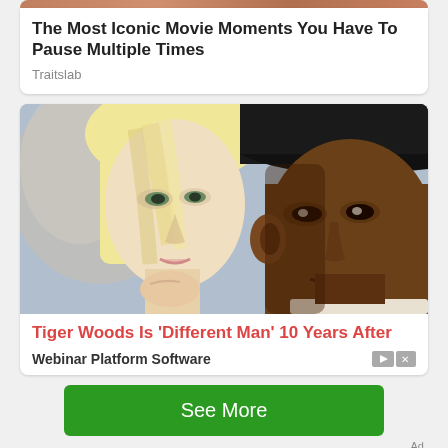[Figure (photo): Top portion of a photo visible at very top edge of page]
The Most Iconic Movie Moments You Have To Pause Multiple Times
Traitslab
[Figure (photo): Photo of a blonde woman and a man wearing a dark baseball cap, appearing to be Tiger Woods and Elin Nordegren]
Tiger Woods Is 'Different Man' 10 Years After
Webinar Platform Software
See More
Ad